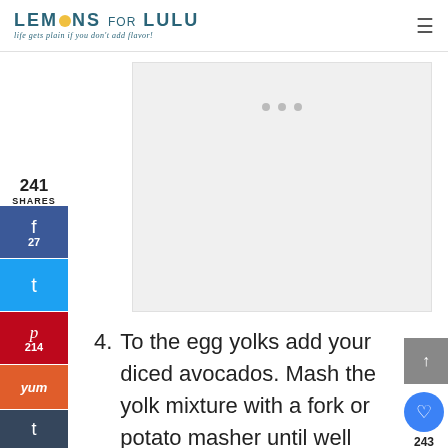LEMONS FOR LULU — life gets plain if you don't add flavor!
[Figure (other): Gray ad placeholder box with three small dots]
241
SHARES
[Figure (other): Facebook share button with count 27]
[Figure (other): Twitter share button]
[Figure (other): Pinterest share button with count 214]
[Figure (other): Yummly share button]
[Figure (other): Tumblr share button]
To the egg yolks add your diced avocados. Mash the yolk mixture with a fork or potato masher until well blended. Add chopped tomatoes, cumin, lime juice,, and